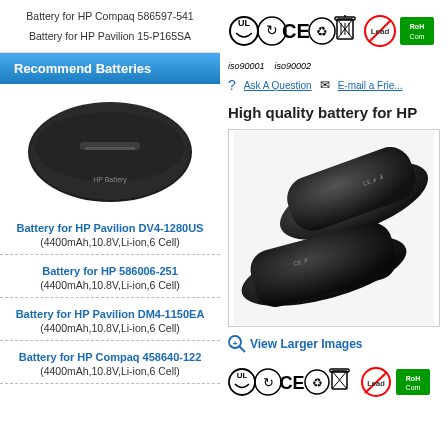Battery for HP Compaq 586597-541
Battery for HP Pavilion 15-P165SA
Recommend Batteries
[Figure (photo): Photo of a black HP laptop battery]
Battery for HP Pavilion DV4-1280US
(4400mAh,10.8V,Li-ion,6 Cell)
Battery for HP 586006-251
(4400mAh,10.8V,Li-ion,6 Cell)
Battery for HP Pavilion DM4-1150EA
(4400mAh,10.8V,Li-ion,6 Cell)
Battery for HP Compaq 458640-122
(4400mAh,10.8V,Li-ion,6 Cell)
[Figure (illustration): Certification icons: UL, recycling, CE, recycling, trash bin, Lead free, RoHS Compliant]
iso90001  iso90002
Ask A Question   E-mail a Friend
High quality battery for HP
[Figure (photo): Product photo showing two black HP laptop batteries overlapping]
View Larger Images
[Figure (illustration): Certification icons row 2: UL, recycling, CE, recycling, trash bin, Lead free, RoHS Compliant]